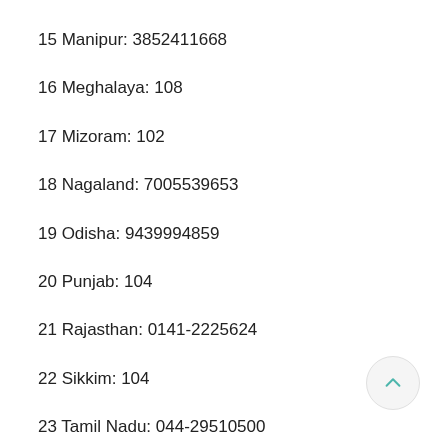15 Manipur: 3852411668
16 Meghalaya: 108
17 Mizoram: 102
18 Nagaland: 7005539653
19 Odisha: 9439994859
20 Punjab: 104
21 Rajasthan: 0141-2225624
22 Sikkim: 104
23 Tamil Nadu: 044-29510500
24 Telangana: 104